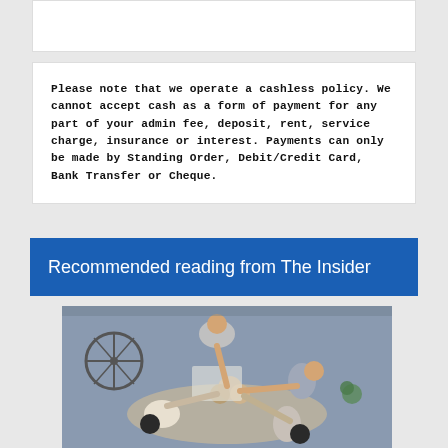Please note that we operate a cashless policy. We cannot accept cash as a form of payment for any part of your admin fee, deposit, rent, service charge, insurance or interest. Payments can only be made by Standing Order, Debit/Credit Card, Bank Transfer or Cheque.
Recommended reading from The Insider
[Figure (photo): Overhead view of a group of people in an office putting their hands together in a team gesture, with a bicycle visible in the background.]